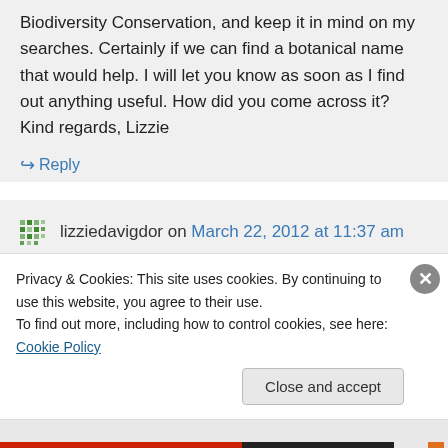Biodiversity Conservation, and keep it in mind on my searches. Certainly if we can find a botanical name that would help. I will let you know as soon as I find out anything useful. How did you come across it? Kind regards, Lizzie
↪ Reply
lizziedavigdor on March 22, 2012 at 11:37 am
Privacy & Cookies: This site uses cookies. By continuing to use this website, you agree to their use.
To find out more, including how to control cookies, see here: Cookie Policy
Close and accept